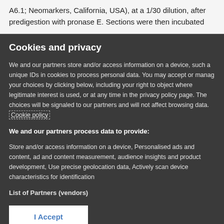A6.1; Neomarkers, California, USA), at a 1/30 dilution, after predigestion with pronase E. Sections were then incubated
Cookies and privacy
We and our partners store and/or access information on a device, such as unique IDs in cookies to process personal data. You may accept or manage your choices by clicking below, including your right to object where legitimate interest is used, or at any time in the privacy policy page. These choices will be signaled to our partners and will not affect browsing data. Cookie policy
We and our partners process data to provide:
Store and/or access information on a device, Personalised ads and content, ad and content measurement, audience insights and product development, Use precise geolocation data, Actively scan device characteristics for identification
List of Partners (vendors)
I Accept